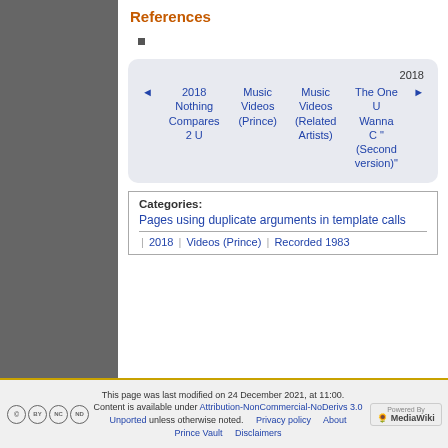References
■
[Figure (other): Navigation box with previous/next links: 2018 Nothing Compares 2 U | Music Videos (Prince) | Music Videos (Related Artists) | 2018 The One U Wanna C" (Second version)"]
Categories: Pages using duplicate arguments in template calls | 2018 | Videos (Prince) | Recorded 1983
This page was last modified on 24 December 2021, at 11:00. Content is available under Attribution-NonCommercial-NoDerivs 3.0 Unported unless otherwise noted. Privacy policy About Prince Vault Disclaimers